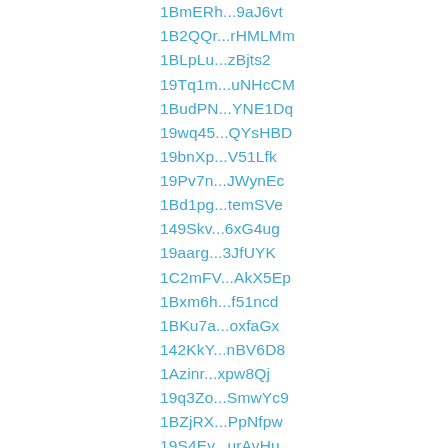1BmERh...9aJ6vt
1B2QQr...rHMLMm
1BLpLu...zBjts2
19Tq1m...uNHcCM
1BudPN...YNE1Dq
19wq45...QYsHBD
19bnXp...V51Lfk
19Pv7n...JWynEc
1Bd1pg...temSVe
149Skv...6xG4ug
19aarg...3JfUYK
1C2mFV...AkX5Ep
1Bxm6h...f51ncd
1BKu7a...oxfaGx
142KkY...nBV6D8
1Azinr...xpw8Qj
19q3Zo...SmwYc9
1BZjRX...PpNfpw
19S4Ev...urAvHu
1BW9xd...WpCdNX
3BD6mW...NFyUfB
19xmuZ...cPpFz2